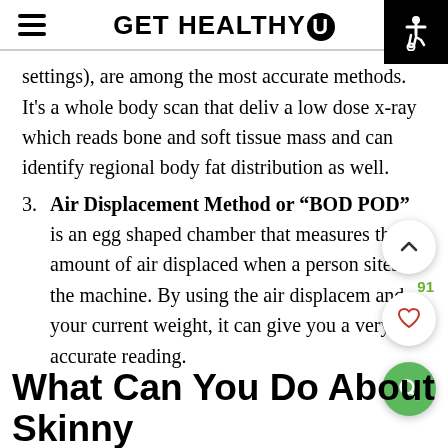GET HEALTHY U
settings), are among the most accurate methods. It's a whole body scan that delivers a low dose x-ray which reads bone and soft tissue mass and can identify regional body fat distribution as well.
3. Air Displacement Method or "BOD POD" is an egg shaped chamber that measures the amount of air displaced when a person sites in the machine. By using the air displacement and your current weight, it can give you a very accurate reading.
What Can You Do About Skinny Fat?